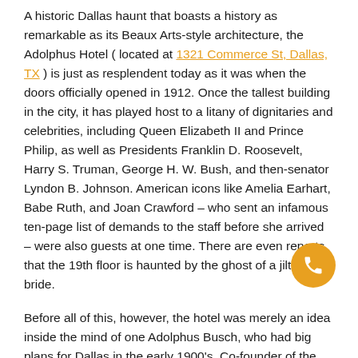A historic Dallas haunt that boasts a history as remarkable as its Beaux Arts-style architecture, the Adolphus Hotel ( located at 1321 Commerce St, Dallas, TX ) is just as resplendent today as it was when the doors officially opened in 1912. Once the tallest building in the city, it has played host to a litany of dignitaries and celebrities, including Queen Elizabeth II and Prince Philip, as well as Presidents Franklin D. Roosevelt, Harry S. Truman, George H. W. Bush, and then-senator Lyndon B. Johnson. American icons like Amelia Earhart, Babe Ruth, and Joan Crawford – who sent an infamous ten-page list of demands to the staff before she arrived – were also guests at one time. There are even reports that the 19th floor is haunted by the ghost of a jilted bride.
Before all of this, however, the hotel was merely an idea inside the mind of one Adolphus Busch, who had big plans for Dallas in the early 1900's. Co-founder of the Anheuser-